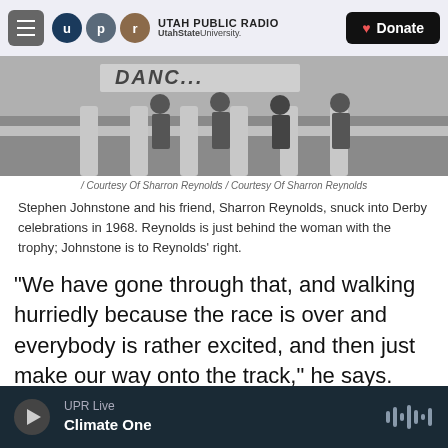UTAH PUBLIC RADIO UtahState University. Donate
[Figure (photo): Black and white photograph of Derby celebrations in 1968, showing people near a building with columns. A banner is partially visible reading DANC...]
/ Courtesy Of Sharron Reynolds / Courtesy Of Sharron Reynolds
Stephen Johnstone and his friend, Sharron Reynolds, snuck into Derby celebrations in 1968. Reynolds is just behind the woman with the trophy; Johnstone is to Reynolds' right.
"We have gone through that, and walking hurriedly because the race is over and everybody is rather excited, and then just make our way onto the track," he says. "And then it's a case of associating with people who do belong there or who are
UPR Live Climate One